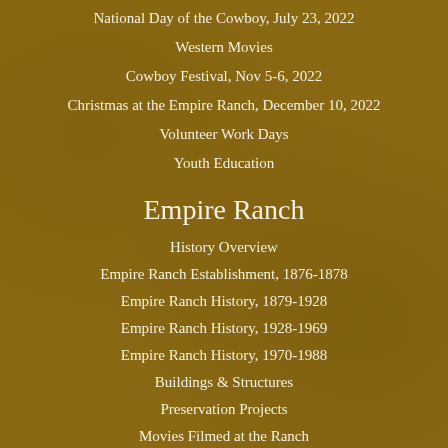National Day of the Cowboy, July 23, 2022
Western Movies
Cowboy Festival, Nov 5-6, 2022
Christmas at the Empire Ranch, December 10, 2022
Volunteer Work Days
Youth Education
Empire Ranch
History Overview
Empire Ranch Establishment, 1876-1878
Empire Ranch History, 1879-1928
Empire Ranch History, 1928-1969
Empire Ranch History, 1970-1988
Buildings & Structures
Preservation Projects
Movies Filmed at the Ranch
Oral Histories
Articles & Links